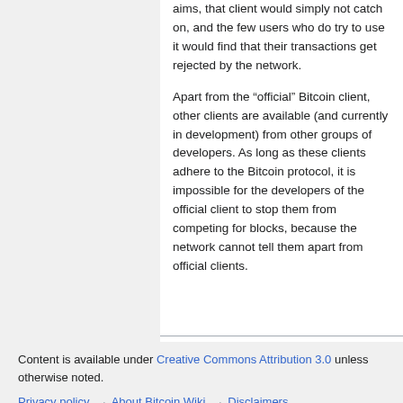aims, that client would simply not catch on, and the few users who do try to use it would find that their transactions get rejected by the network.
Apart from the “official” Bitcoin client, other clients are available (and currently in development) from other groups of developers. As long as these clients adhere to the Bitcoin protocol, it is impossible for the developers of the official client to stop them from competing for blocks, because the network cannot tell them apart from official clients.
Content is available under Creative Commons Attribution 3.0 unless otherwise noted.
Privacy policy · About Bitcoin Wiki · Disclaimers